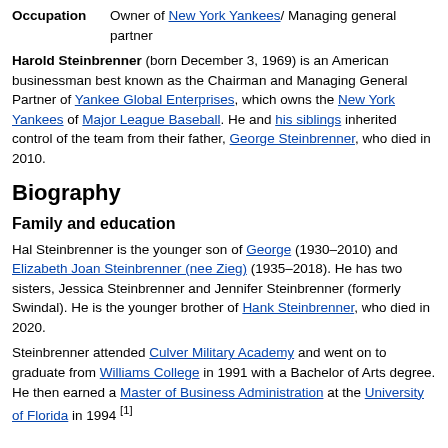Occupation   Owner of New York Yankees/ Managing general partner
Harold Steinbrenner (born December 3, 1969) is an American businessman best known as the Chairman and Managing General Partner of Yankee Global Enterprises, which owns the New York Yankees of Major League Baseball. He and his siblings inherited control of the team from their father, George Steinbrenner, who died in 2010.
Biography
Family and education
Hal Steinbrenner is the younger son of George (1930–2010) and Elizabeth Joan Steinbrenner (nee Zieg) (1935–2018). He has two sisters, Jessica Steinbrenner and Jennifer Steinbrenner (formerly Swindal). He is the younger brother of Hank Steinbrenner, who died in 2020.
Steinbrenner attended Culver Military Academy and went on to graduate from Williams College in 1991 with a Bachelor of Arts degree. He then earned a Master of Business Administration at the University of Florida in 1994 [1]